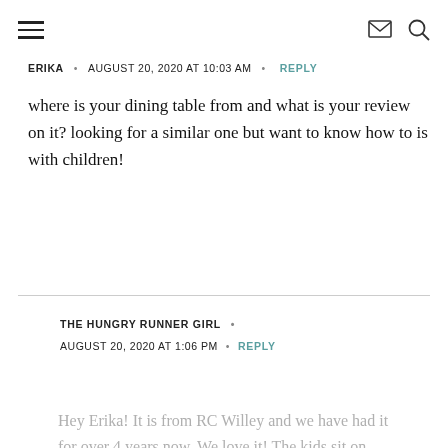[hamburger menu icon] [email icon] [search icon]
ERIKA · AUGUST 20, 2020 AT 10:03 AM · REPLY
where is your dining table from and what is your review on it? looking for a similar one but want to know how to is with children!
THE HUNGRY RUNNER GIRL · AUGUST 20, 2020 AT 1:06 PM · REPLY
Hey Erika! It is from RC Willey and we have had it for over 4 years now. We love it! The kids sit on